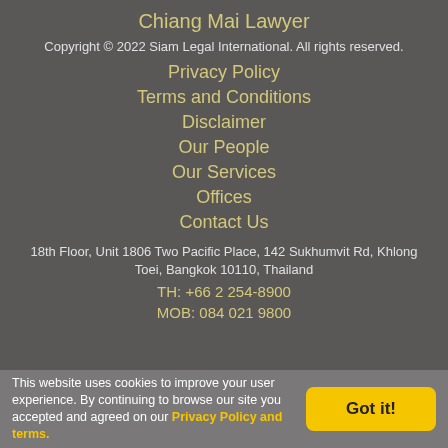Chiang Mai Lawyer
Copyright © 2022 Siam Legal International. All rights reserved.
Privacy Policy
Terms and Conditions
Disclaimer
Our People
Our Services
Offices
Contact Us
18th Floor, Unit 1806 Two Pacific Place, 142 Sukhumvit Rd, Khlong Toei, Bangkok 10110, Thailand
TH: +66 2 254-8900
MOB: 084 021 9800
This website uses cookies to improve your user experience. By continuing to browse our site you accepted and agreed on our Privacy Policy and terms.